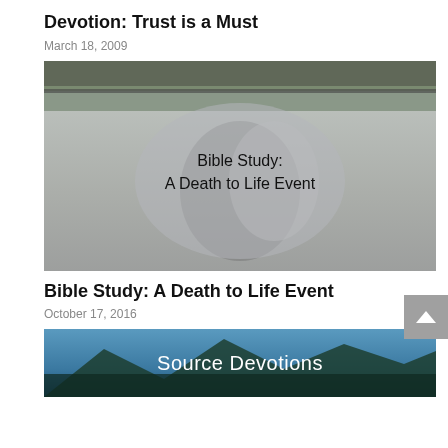Devotion: Trust is a Must
March 18, 2009
[Figure (photo): Black and white photo of two people in a pool/water, with a semi-transparent oval overlay containing text 'Bible Study: A Death to Life Event'. Background shows trees and a fence.]
Bible Study: A Death to Life Event
October 17, 2016
[Figure (photo): Colorful photo of pine trees against blue sky/mountains with text overlay 'Source Devotions' in white.]